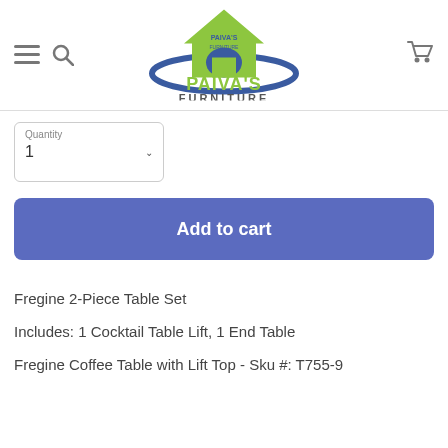Paiva's Furniture - navigation header with logo
[Figure (logo): Paiva's Furniture logo - house shape in green/yellow with blue arc, text PAIVA'S FURNITURE below]
Quantity
1
Add to cart
Fregine 2-Piece Table Set
Includes: 1 Cocktail Table Lift, 1 End Table
Fregine Coffee Table with Lift Top - Sku #: T755-9